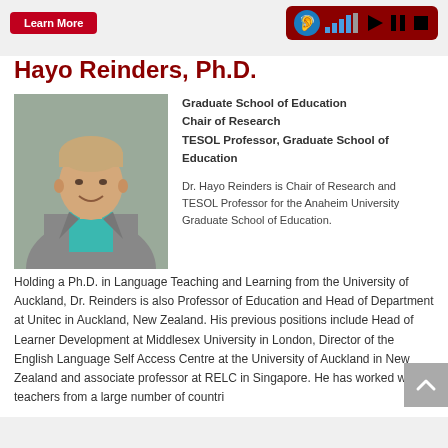Learn More
Hayo Reinders, Ph.D.
[Figure (photo): Professional headshot of Hayo Reinders, a middle-aged man in a grey blazer and teal/blue shirt, smiling, against a neutral background.]
Graduate School of Education Chair of Research TESOL Professor, Graduate School of Education
Dr. Hayo Reinders is Chair of Research and TESOL Professor for the Anaheim University Graduate School of Education. Holding a Ph.D. in Language Teaching and Learning from the University of Auckland, Dr. Reinders is also Professor of Education and Head of Department at Unitec in Auckland, New Zealand. His previous positions include Head of Learner Development at Middlesex University in London, Director of the English Language Self Access Centre at the University of Auckland in New Zealand and associate professor at RELC in Singapore. He has worked with teachers from a large number of countri...